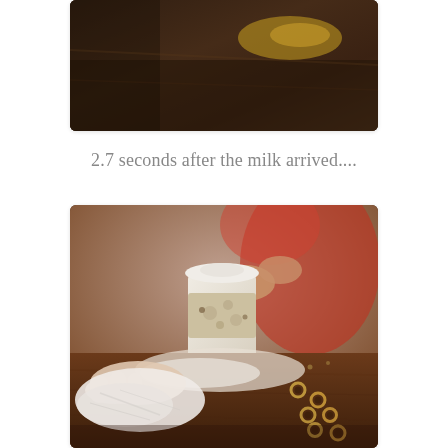[Figure (photo): Partial photo at top of page showing a dark brown background with a small yellow/gold smudge visible, cropped at edges with rounded card border.]
2.7 seconds after the milk arrived....
[Figure (photo): Photo of a child in a red sweater holding a white-lidded coffee cup on a dark wooden table, with an adult wiping up spilled liquid with a white napkin/tissue. Small cereal rings (Cheerios) are scattered on the table surface.]